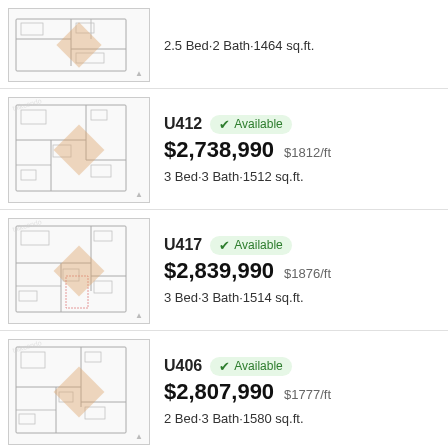[Figure (other): Floor plan thumbnail for partial listing at top (2.5 Bed, 2 Bath, 1464 sq.ft.)]
2.5 Bed·2 Bath·1464 sq.ft.
[Figure (other): Floor plan thumbnail for U412]
U412 Available
$2,738,990 $1812/ft
3 Bed·3 Bath·1512 sq.ft.
[Figure (other): Floor plan thumbnail for U417]
U417 Available
$2,839,990 $1876/ft
3 Bed·3 Bath·1514 sq.ft.
[Figure (other): Floor plan thumbnail for U406]
U406 Available
$2,807,990 $1777/ft
2 Bed·3 Bath·1580 sq.ft.